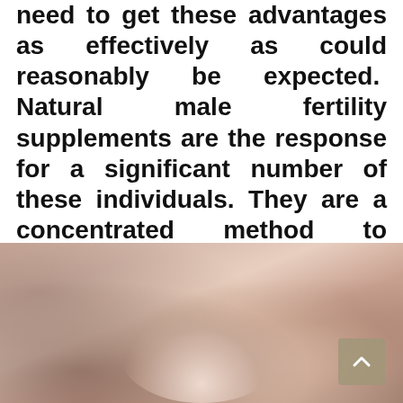need to get these advantages as effectively as could reasonably be expected. Natural male fertility supplements are the response for a significant number of these individuals. They are a concentrated method to acquire the fundamental nutrients, minerals and supplements that we have to keep up our wellbeing.
[Figure (photo): Close-up blurred photo of a hand holding what appears to be supplement pills or capsules, warm skin tones with bokeh background.]